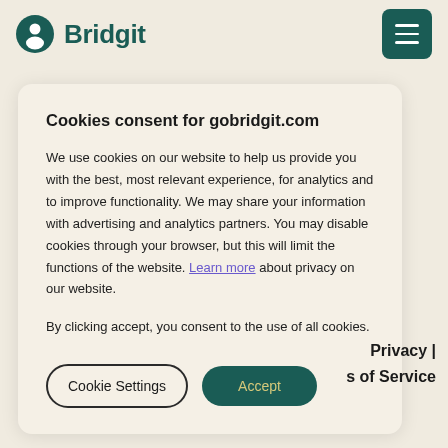[Figure (logo): Bridgit logo with dark teal circle icon containing a person silhouette and the word Bridgit in dark teal]
[Figure (other): Dark teal hamburger menu button with three white horizontal lines]
Cookies consent for gobridgit.com
We use cookies on our website to help us provide you with the best, most relevant experience, for analytics and to improve functionality. We may share your information with advertising and analytics partners. You may disable cookies through your browser, but this will limit the functions of the website. Learn more about privacy on our website.
By clicking accept, you consent to the use of all cookies.
Cookie Settings  Accept
Privacy | s of Service